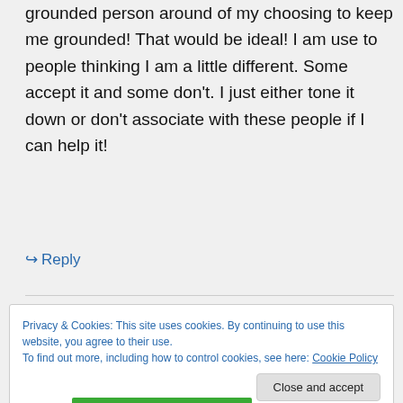grounded person around of my choosing to keep me grounded! That would be ideal! I am use to people thinking I am a little different. Some accept it and some don't. I just either tone it down or don't associate with these people if I can help it!
↪ Reply
Privacy & Cookies: This site uses cookies. By continuing to use this website, you agree to their use.
To find out more, including how to control cookies, see here: Cookie Policy
Close and accept